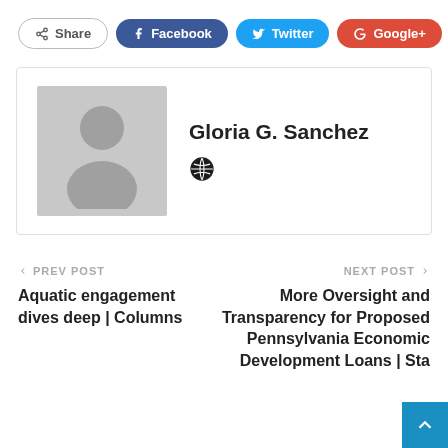[Figure (infographic): Social share buttons: Share, Facebook, Twitter, Google+, plus button]
[Figure (photo): Author card with avatar placeholder and name Gloria G. Sanchez with globe icon]
Gloria G. Sanchez
← PREV POST
Aquatic engagement dives deep | Columns
NEXT POST →
More Oversight and Transparency for Proposed Pennsylvania Economic Development Loans | Sta